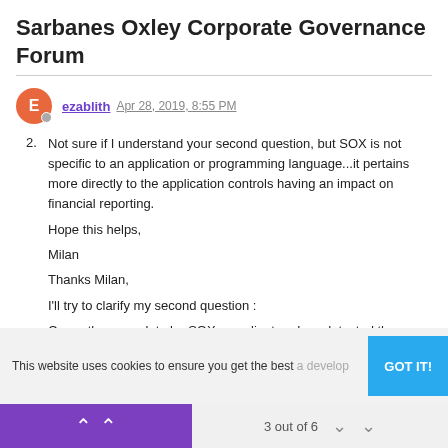Sarbanes Oxley Corporate Governance Forum
ezablith Apr 28, 2019, 8:55 PM
2. Not sure if I understand your second question, but SOX is not specific to an application or programming language...it pertains more directly to the application controls having an impact on financial reporting.
Hope this helps,
Milan
Thanks Milan,
I'll try to clarify my second question :
Currently we work to be SOX compliant and we detected the applications and processes that have an impact on financial
This website uses cookies to ensure you get the best
3 out of 6